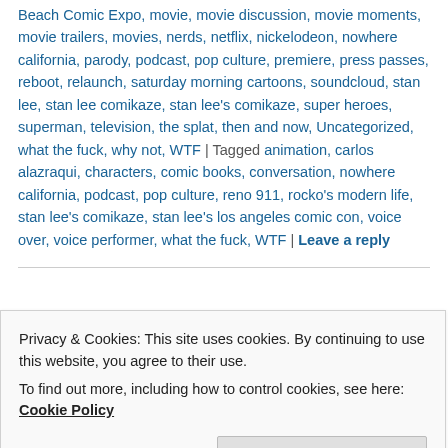Beach Comic Expo, movie, movie discussion, movie moments, movie trailers, movies, nerds, netflix, nickelodeon, nowhere california, parody, podcast, pop culture, premiere, press passes, reboot, relaunch, saturday morning cartoons, soundcloud, stan lee, stan lee comikaze, stan lee's comikaze, super heroes, superman, television, the splat, then and now, Uncategorized, what the fuck, why not, WTF | Tagged animation, carlos alazraqui, characters, comic books, conversation, nowhere california, podcast, pop culture, reno 911, rocko's modern life, stan lee's comikaze, stan lee's los angeles comic con, voice over, voice performer, what the fuck, WTF | Leave a reply
Privacy & Cookies: This site uses cookies. By continuing to use this website, you agree to their use. To find out more, including how to control cookies, see here: Cookie Policy
obsession with Tom Hardy and report this objectively so